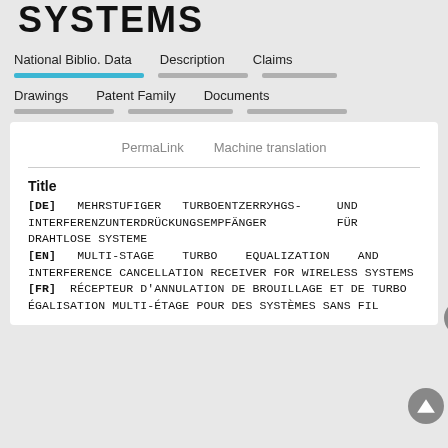SYSTEMS
National Biblio. Data | Description | Claims | Drawings | Patent Family | Documents
PermaLink   Machine translation
Title
[DE] MEHRSTUFIGER TURBOENTZERRУНGS- UND INTERFERENZUNTERDRÜCKUNGSEMPFÄNGER FÜR DRAHTLOSE SYSTEME
[EN] MULTI-STAGE TURBO EQUALIZATION AND INTERFERENCE CANCELLATION RECEIVER FOR WIRELESS SYSTEMS
[FR] RÉCEPTEUR D'ANNULATION DE BROUILLAGE ET DE TURBO ÉGALISATION MULTI-ÉTAGE POUR DES SYSTÈMES SANS FIL